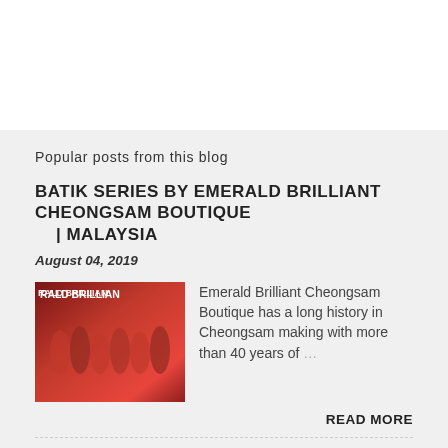Popular posts from this blog
BATIK SERIES BY EMERALD BRILLIANT CHEONGSAM BOUTIQUE | MALAYSIA
August 04, 2019
[Figure (photo): Group of people in red cheongsam dresses standing in front of Emerald Brilliant store]
Emerald Brilliant Cheongsam Boutique has a long history in Cheongsam making with more than 40 years of ...
READ MORE
COME AND GET TOGETHER AT ELEGAN RESIDENSI, TAMAN